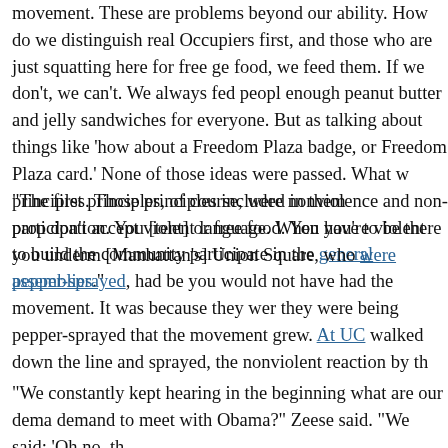movement. These are problems beyond our ability. How do we distinguish real Occupiers first, and those who are just squatting here for free gear? If we have food, we feed them. If we don't, we can't. We always fed people. There's always enough peanut butter and jelly sandwiches for everyone. But as we grew, we were talking about things like 'how about a Freedom Plaza badge, or how about a Freedom Plaza card.' None of those ideas were passed. What we ended up with are principles. Those principles included in them participation. You can't just have a [tent] or free food. You have to be there to build the community and to participate in the general assemblies."
"The first principles, of course, were nonviolence and non-property destruction. We don't accept violent language. When you're violent you undermine the movement. [Manhattan's] Union Square, who were pepper-sprayed, had been violent, you would not have had the movement. It was because they were nonviolent, because they were being pepper-sprayed that the movement grew. At UC Davis, [the officer] walked down the line and sprayed, the nonviolent reaction by th
"We constantly kept hearing in the beginning what are our demands? Was there a demand to meet with Obama?" Zeese said. "We said: 'Oh no, th